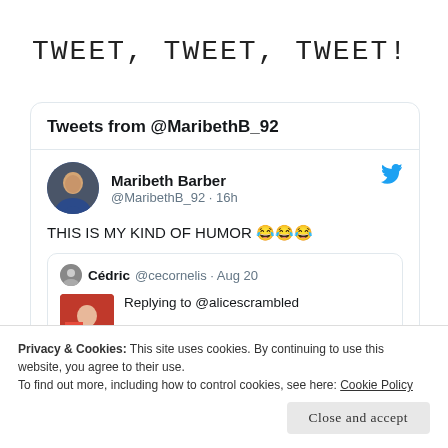TWEET, TWEET, TWEET!
Tweets from @MaribethB_92
Maribeth Barber @MaribethB_92 · 16h
THIS IS MY KIND OF HUMOR 😂😂😂
Cédric @cecornelis · Aug 20 Replying to @alicescrambled
Privacy & Cookies: This site uses cookies. By continuing to use this website, you agree to their use.
To find out more, including how to control cookies, see here: Cookie Policy
Close and accept